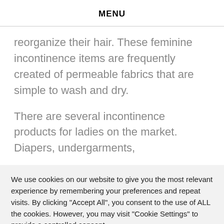MENU
reorganize their hair. These feminine incontinence items are frequently created of permeable fabrics that are simple to wash and dry.
There are several incontinence products for ladies on the market. Diapers, undergarments,
We use cookies on our website to give you the most relevant experience by remembering your preferences and repeat visits. By clicking “Accept All”, you consent to the use of ALL the cookies. However, you may visit “Cookie Settings” to provide a controlled consent.
Cookie Settings | Accept All